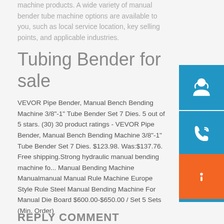machine products. A wide variety of manual bender tube machine options are available to you, such as local service location, key selling points, and applicable industries.
Tubing Bender for sale
VEVOR Pipe Bender, Manual Bench Bending Machine 3/8"-1" Tube Bender Set 7 Dies. 5 out of 5 stars. (30) 30 product ratings - VEVOR Pipe Bender, Manual Bench Bending Machine 3/8"-1" Tube Bender Set 7 Dies. $123.98. Was:$137.76. Free shipping.Strong hydraulic manual bending machine for... Manual Bending Machine Manualmanual Manual Rule Machine Europe Style Rule Steel Manual Bending Machine For Manual Die Board $600.00-$650.00 / Set 5 Sets (Min. Order)
[Figure (illustration): Blue customer support icon with headset person]
[Figure (illustration): Blue phone/call icon with signal waves]
[Figure (illustration): Blue Skype icon with S letter]
[Figure (illustration): Orange button with info/arrow icon]
REPLY COMMENT